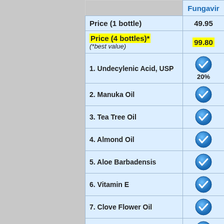|  | Fungavir |
| --- | --- |
| Price (1 bottle) | 49.95 |
| Price (4 bottles)* (*best value) | 99.80 |
| 1. Undecylenic Acid, USP | ✓ 20% |
| 2. Manuka Oil | ✓ |
| 3. Tea Tree Oil | ✓ |
| 4. Almond Oil | ✓ |
| 5. Aloe Barbadensis | ✓ |
| 6. Vitamin E | ✓ |
| 7. Clove Flower Oil | ✓ |
| 8. Jojoba Oil | ✓ |
| 9. Black Walnut Oil | ✓ |